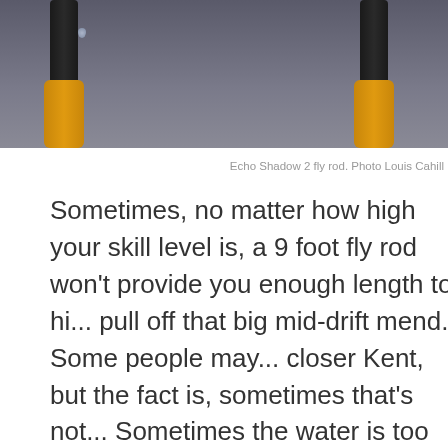[Figure (photo): Close-up photo of fly fishing rods with black rod blanks and yellow/gold grips against a gray background, with a water droplet visible on one rod]
Echo Shadow 2 fly rod. Photo Louis Cahill
Sometimes, no matter how high your skill level is, a 9 foot fly rod won't provide you enough length to hi... pull off that big mid-drift mend. Some people may... closer Kent, but the fact is, sometimes that's not... Sometimes the water is too fast or too deep to m... the fish are too spooky to risk moving in closer. R... the Shadow 2 fly rod with the competition kit upg... sway the odds in the anglers favor because the t... section rod extensions will quickly give you the a... rod length in seconds for those technical fishing...